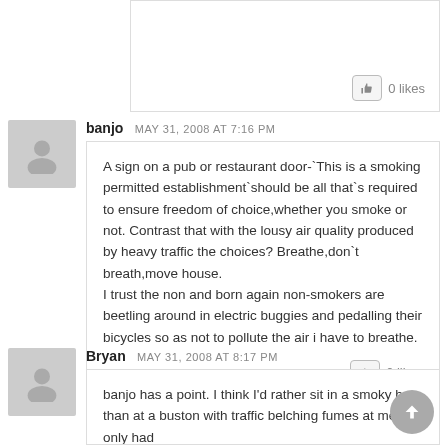0 likes
banjo  MAY 31, 2008 AT 7:16 PM
A sign on a pub or restaurant door-`This is a smoking permitted establishment`should be all that`s required to ensure freedom of choice,whether you smoke or not. Contrast that with the lousy air quality produced by heavy traffic the choices? Breathe,don`t breath,move house.
I trust the non and born again non-smokers are beetling around in electric buggies and pedalling their bicycles so as not to pollute the air i have to breathe.
0 likes
Bryan  MAY 31, 2008 AT 8:17 PM
banjo has a point. I think I'd rather sit in a smoky bar than at a buston with traffic belching fumes at me, if I only had